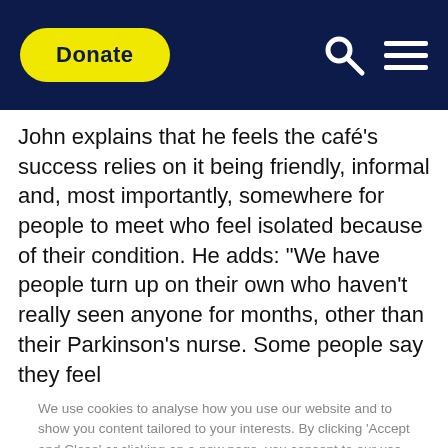Donate
John explains that he feels the café's success relies on it being friendly, informal and, most importantly, somewhere for people to meet who feel isolated because of their condition. He adds: "We have people turn up on their own who haven't really seen anyone for months, other than their Parkinson's nurse. Some people say they feel
We use cookies to analyse how you use our website and to show you content tailored to your interests. By clicking 'Accept and Close' or clicking on a new page, you consent to our use of cookies. You can edit your preferences by clicking on 'Edit'. View our cookies policy
Edit
Accept and Close